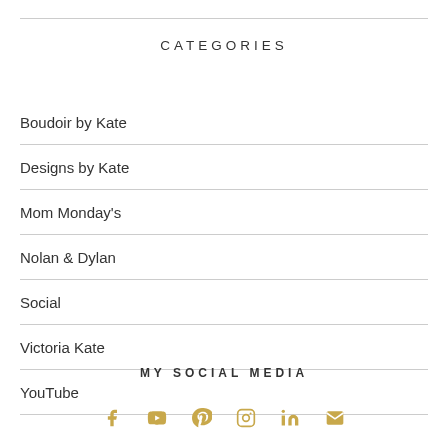CATEGORIES
Boudoir by Kate
Designs by Kate
Mom Monday's
Nolan & Dylan
Social
Victoria Kate
YouTube
MY SOCIAL MEDIA
[Figure (infographic): Row of six social media icons in gold/tan color: Facebook, YouTube, Pinterest, Instagram, LinkedIn, Email]